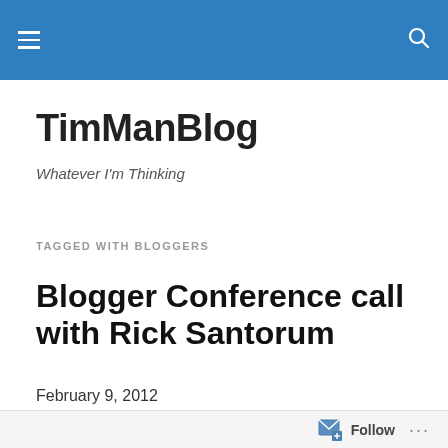TimManBlog navigation header
TimManBlog
Whatever I'm Thinking
TAGGED WITH BLOGGERS
Blogger Conference call with Rick Santorum
February 9, 2012
I got an e-mail this morning from the Rick Santorum for President Campaign inviting me to attend/participate…
Follow